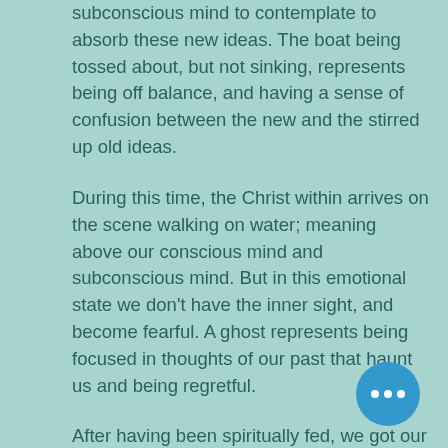subconscious mind to contemplate to absorb these new ideas. The boat being tossed about, but not sinking, represents being off balance, and having a sense of confusion between the new and the stirred up old ideas.
During this time, the Christ within arrives on the scene walking on water; meaning above our conscious mind and subconscious mind. But in this emotional state we don't have the inner sight, and become fearful. A ghost represents being focused in thoughts of our past that haunt us and being regretful.
After having been spiritually fed, we got our experiences for us to practice our